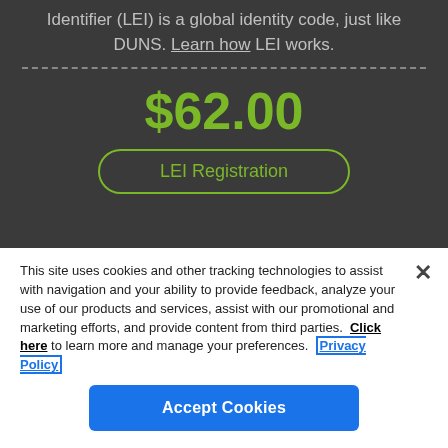Identifier (LEI) is a global identity code, just like DUNS. Learn how LEI works.
$62.00
LEI Registration
This site uses cookies and other tracking technologies to assist with navigation and your ability to provide feedback, analyze your use of our products and services, assist with our promotional and marketing efforts, and provide content from third parties.  Click here to learn more and manage your preferences.  Privacy Policy
Accept Cookies